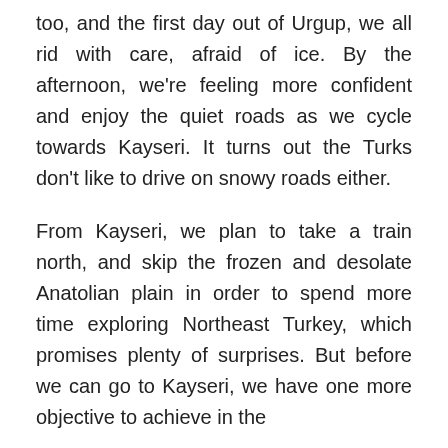too, and the first day out of Urgup, we all rid with care, afraid of ice. By the afternoon, we're feeling more confident and enjoy the quiet roads as we cycle towards Kayseri. It turns out the Turks don't like to drive on snowy roads either.
From Kayseri, we plan to take a train north, and skip the frozen and desolate Anatolian plain in order to spend more time exploring Northeast Turkey, which promises plenty of surprises. But before we can go to Kayseri, we have one more objective to achieve in the